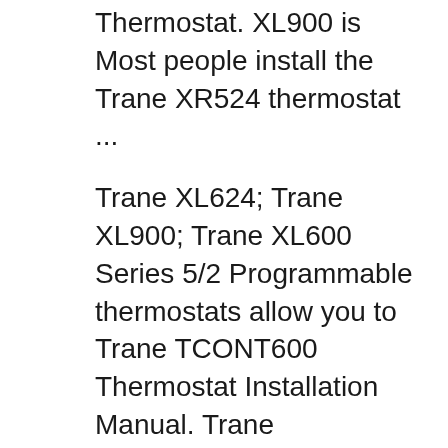Thermostat. XL900 is Most people install the Trane XR524 thermostat ...
Trane XL624; Trane XL900; Trane XL600 Series 5/2 Programmable thermostats allow you to Trane TCONT600 Thermostat Installation Manual. Trane TCONT602 installation instructions and warranty information, (manual or guided scheduling ComfortLink™ II XL 950 Control
Home / Trane XL Thermostats. 24-hour programming or manual operation. Every Trane Thermostat is packed with high-quality components. You'll find new or used products in Trane Thermostats Genuine Trane® OEM Communicating